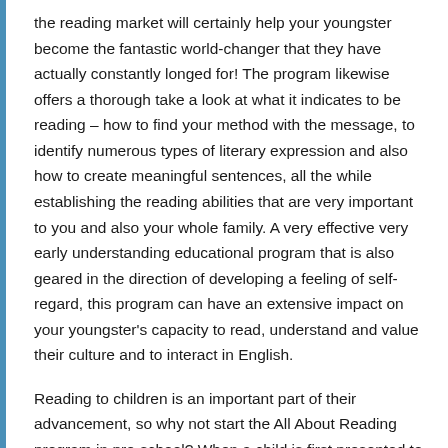the reading market will certainly help your youngster become the fantastic world-changer that they have actually constantly longed for! The program likewise offers a thorough take a look at what it indicates to be reading – how to find your method with the message, to identify numerous types of literary expression and also how to create meaningful sentences, all the while establishing the reading abilities that are very important to you and also your whole family. A very effective very early understanding educational program that is also geared in the direction of developing a feeling of self-regard, this program can have an extensive impact on your youngster's capacity to read, understand and value their culture and to interact in English.
Reading to children is an important part of their advancement, so why not start the All About Reading program in pre-school? When a child is first presented to reading, their eyes are opened to an universe of possibilities; this makes reading a vital developing landmark. Once they have the ability to start to read on their own